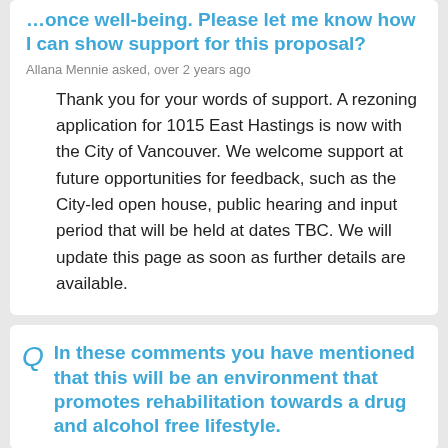can show support for this proposal?
Allana Mennie asked, over 2 years ago
Thank you for your words of support. A rezoning application for 1015 East Hastings is now with the City of Vancouver. We welcome support at future opportunities for feedback, such as the City-led open house, public hearing and input period that will be held at dates TBC. We will update this page as soon as further details are available.
In these comments you have mentioned that this will be an environment that promotes rehabilitation towards a drug and alcohol free lifestyle.